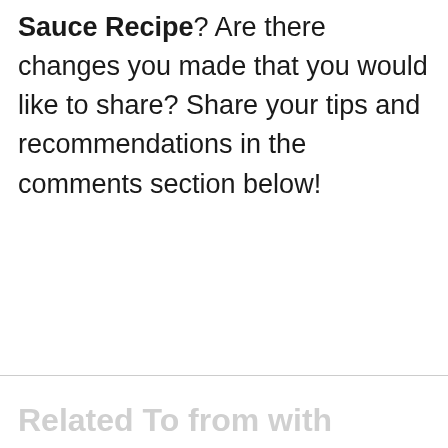Sauce Recipe? Are there changes you made that you would like to share? Share your tips and recommendations in the comments section below!
Related To from with